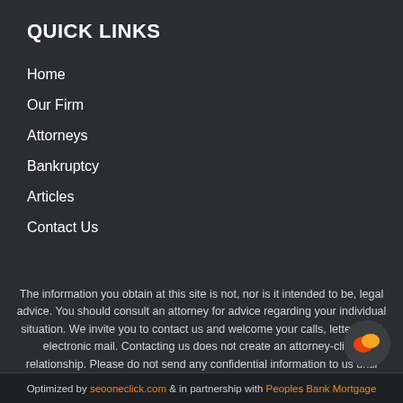QUICK LINKS
Home
Our Firm
Attorneys
Bankruptcy
Articles
Contact Us
The information you obtain at this site is not, nor is it intended to be, legal advice. You should consult an attorney for advice regarding your individual situation. We invite you to contact us and welcome your calls, letters and electronic mail. Contacting us does not create an attorney-client relationship. Please do not send any confidential information to us until such time as an attorney-client relationship has been established.
Optimized by seooneclick.com & in partnership with Peoples Bank Mortgage